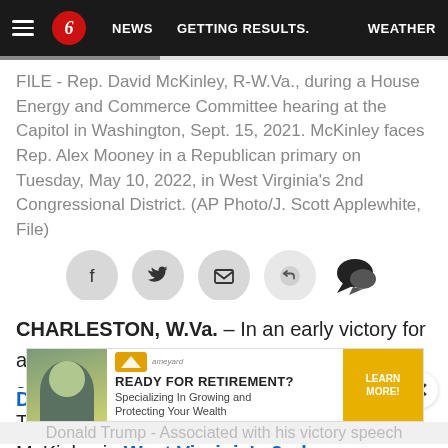☰  6  NEWS  GETTING RESULTS.  WEATHER
FILE - Rep. David McKinley, R-W.Va., during a House Energy and Commerce Committee hearing at the Capitol in Washington, Sept. 15, 2021. McKinley faces Rep. Alex Mooney in a Republican primary on Tuesday, May 10, 2022, in West Virginia's 2nd Congressional District. (AP Photo/J. Scott Applewhite, File)
[Figure (infographic): Social sharing buttons row: Facebook, Twitter, Email, Share, Comment icons]
CHARLESTON, W.Va. – In an early victory for a Donald Trump-endorsed candidate at the start of midterm season, Rep. Alex Mooney on Tuesday beat fellow incumbent Rep. David McKinley in West Virginia's 2nd Congressional District Republican primary.
[Figure (infographic): Advertisement banner: READY FOR RETIREMENT? Specializing In Growing and Protecting Your Wealth. LEARN MORE!]
Donald Trump - Associated Press said in his victory speech